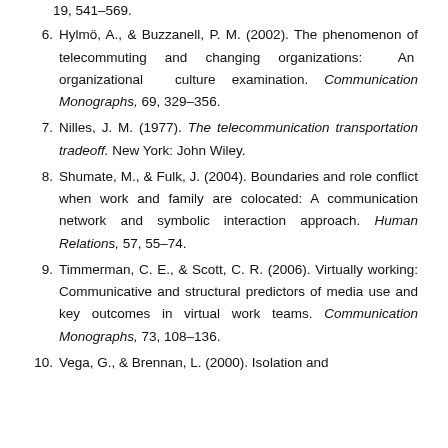19, 541–569.
6. Hylmö, A., & Buzzanell, P. M. (2002). The phenomenon of telecommuting and changing organizations: An organizational culture examination. Communication Monographs, 69, 329–356.
7. Nilles, J. M. (1977). The telecommunication transportation tradeoff. New York: John Wiley.
8. Shumate, M., & Fulk, J. (2004). Boundaries and role conflict when work and family are colocated: A communication network and symbolic interaction approach. Human Relations, 57, 55–74.
9. Timmerman, C. E., & Scott, C. R. (2006). Virtually working: Communicative and structural predictors of media use and key outcomes in virtual work teams. Communication Monographs, 73, 108–136.
10. Vega, G., & Brennan, L. (2000). Isolation and